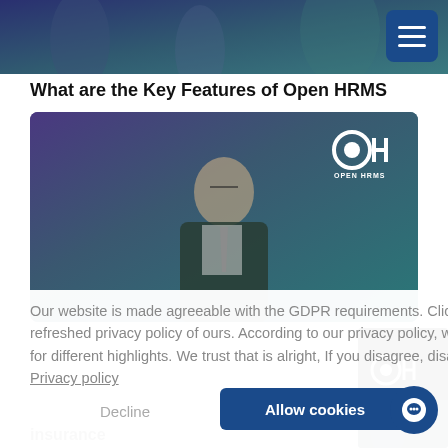[Figure (screenshot): Top banner with blue-green gradient background, hamburger menu icon in top right]
What are the Key Features of Open HRMS
[Figure (photo): Hero image showing a man in a dark suit with Open HRMS logo in top right corner, blue-purple gradient background]
Our website is made agreeable with the GDPR requirements. Click to view the refreshed privacy policy of ours. According to our privacy policy, we use cookies for different highlights. We trust that is alright, If you disagree, disable the cookies.  Privacy policy
Decline
Allow cookies
[Figure (logo): Open HRMS logo thumbnail on right side]
insurance